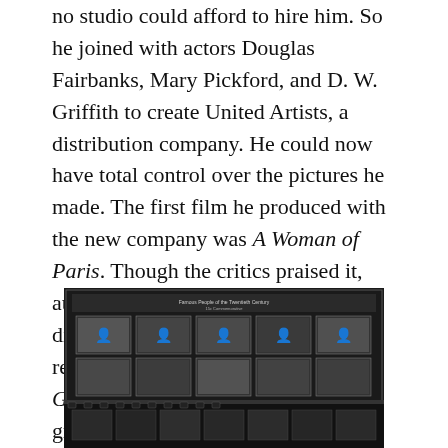no studio could afford to hire him. So he joined with actors Douglas Fairbanks, Mary Pickford, and D. W. Griffith to create United Artists, a distribution company. He could now have total control over the pictures he made. The first film he produced with the new company was A Woman of Paris. Though the critics praised it, audiences were disappointed Chaplin didn't appear in the film. The Tramp returned in the next movie titled The Gold Rush. It was one of the highest-grossing silent films, making $5 million in profits.
[Figure (photo): A commemorative stamp sheet featuring famous people of the twentieth century, showing multiple portrait photos arranged in a grid with film strip border design.]